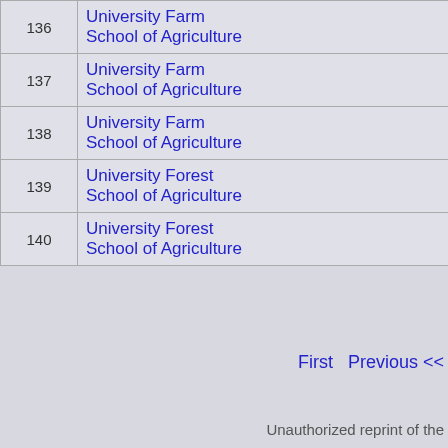| # | Location / School | Title |
| --- | --- | --- |
| 136 | University Farm
School of Agriculture | Assoc
Profe |
| 137 | University Farm
School of Agriculture | Assist
Profe |
| 138 | University Farm
School of Agriculture | Assist
Profe |
| 139 | University Forest
School of Agriculture | Profe |
| 140 | University Forest
School of Agriculture | Profe |
First   Previous <<
Unauthorized reprint of the